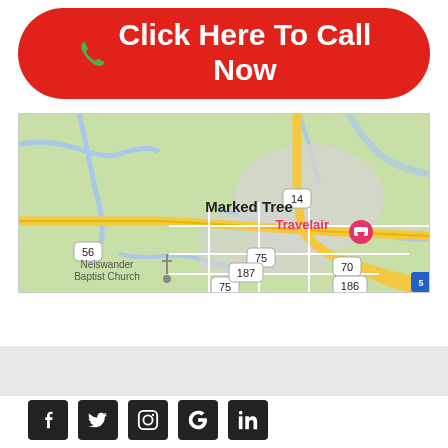[Figure (other): Red rounded button with phone icon and text 'Click Here To Call Now']
[Figure (map): Google Maps screenshot showing Marked Tree, Arkansas area with Travelair hotel pin, Neiswander Baptist Church, and route numbers 14, 56, 75, 70, 187, 186, 5]
[Figure (other): Social media icon bar with Facebook, Twitter, Instagram, Google, and LinkedIn icons on dark square backgrounds]